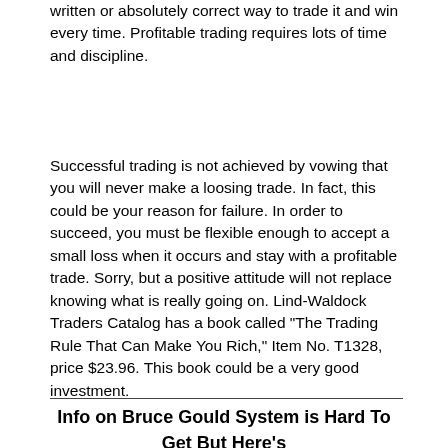written or absolutely correct way to trade it and win every time. Profitable trading requires lots of time and discipline.
Successful trading is not achieved by vowing that you will never make a loosing trade. In fact, this could be your reason for failure. In order to succeed, you must be flexible enough to accept a small loss when it occurs and stay with a profitable trade. Sorry, but a positive attitude will not replace knowing what is really going on. Lind-Waldock Traders Catalog has a book called "The Trading Rule That Can Make You Rich," Item No. T1328, price $23.96. This book could be a very good investment.
Info on Bruce Gould System is Hard To Get But Here's Some Info - Leonard Sinodis